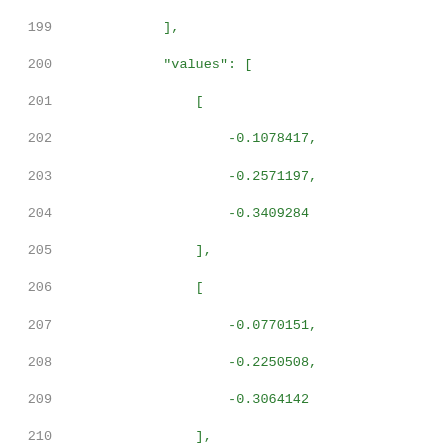Code listing lines 199-220 showing JSON data with values arrays and related_pin/rise_constraint keys